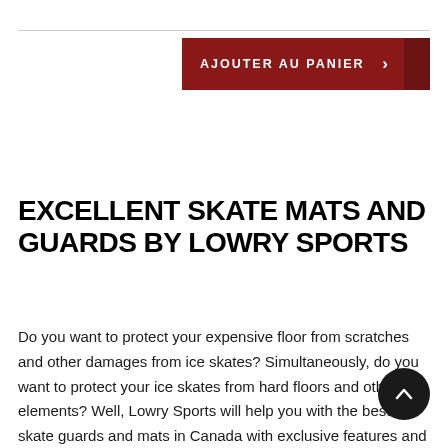[Figure (other): Add to cart button in dark red with text 'AJOUTER AU PANIER' and a right arrow chevron]
EXCELLENT SKATE MATS AND GUARDS BY LOWRY SPORTS
Do you want to protect your expensive floor from scratches and other damages from ice skates? Simultaneously, do you want to protect your ice skates from hard floors and other dirt elements? Well, Lowry Sports will help you with the best skate guards and mats in Canada with exclusive features and high-quality standards.